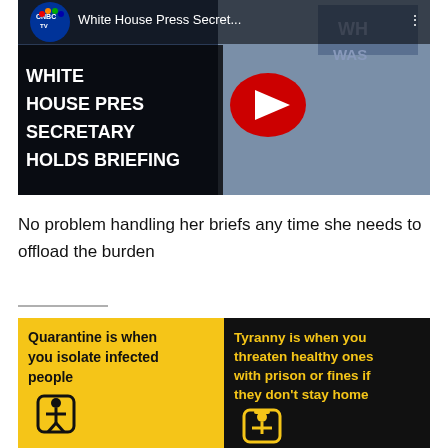[Figure (screenshot): YouTube video thumbnail from CNBC TV showing White House Press Secretary Kayleigh McEnany at a briefing podium. Title overlay reads 'WHITE HOUSE PRESS SECRETARY HOLDS BRIEFING'. Red YouTube play button in center. CNBC TV logo top left. Title bar reads 'White House Press Secret...' with three-dot menu.]
No problem handling her briefs any time she needs to offload the burden
[Figure (infographic): Two-panel infographic. Left panel (yellow background, black text): 'Quarantine is when you isolate infected people' with a person-in-box icon. Right panel (black background, yellow text): 'Tyranny is when you threaten healthy ones with prison or fines if they don't stay home' with an icon.]